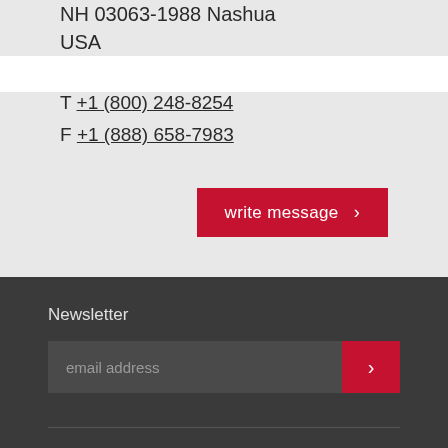NH 03063-1988 Nashua USA
T +1 (800) 248-8254
F +1 (888) 658-7983
write message ›
Newsletter
email address
Group
Press